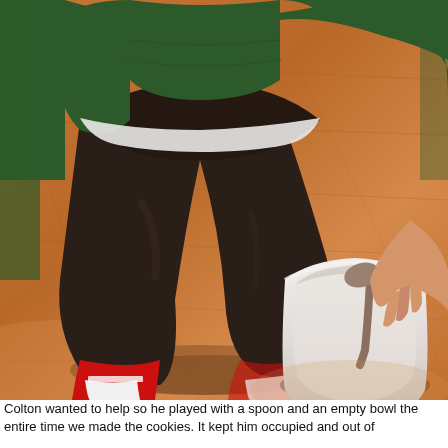[Figure (photo): A young child crouching on a hardwood floor, wearing dark pants, a green sweatshirt, and red-and-white socks, reaching into a large white bowl with a spoon.]
Colton wanted to help so he played with a spoon and an empty bowl the entire time we made the cookies. It kept him occupied and out of